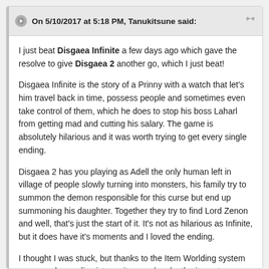On 5/10/2017 at 5:18 PM, Tanukitsune said:
I just beat Disgaea Infinite a few days ago which gave the resolve to give Disgaea 2 another go, which I just beat!
Disgaea Infinite is the story of a Prinny with a watch that let's him travel back in time, possess people and sometimes even take control of them, which he does to stop his boss Laharl from getting mad and cutting his salary. The game is absolutely hilarious and it was worth trying to get every single ending.
Disgaea 2 has you playing as Adell the only human left in village of people slowly turning into monsters, his family try to summon the demon responsible for this curse but end up summoning his daughter. Together they try to find Lord Zenon and well, that's just the start of it. It's not as hilarious as Infinite, but it does have it's moments and I loved the ending.
I thought I was stuck, but thanks to the Item Worlding system you can always dive into an item and make the item stronger while you get rare items and gain a few levels.